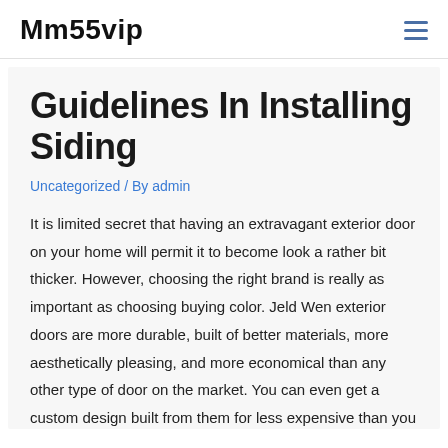Mm55vip
Guidelines In Installing Siding
Uncategorized / By admin
It is limited secret that having an extravagant exterior door on your home will permit it to become look a rather bit thicker. However, choosing the right brand is really as important as choosing buying color. Jeld Wen exterior doors are more durable, built of better materials, more aesthetically pleasing, and more economical than any other type of door on the market. You can even get a custom design built from them for less expensive than you would pay from most brandnames. It's hard to believe, but is usually true, along with the reason will be the fact that Jeld Wen is new to angling. They are building their reputation and could certainly take